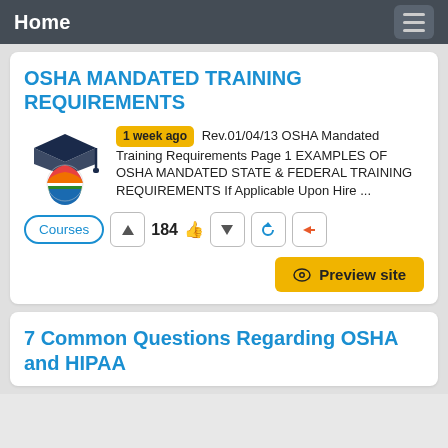Home
OSHA MANDATED TRAINING REQUIREMENTS
1 week ago Rev.01/04/13 OSHA Mandated Training Requirements Page 1 EXAMPLES OF OSHA MANDATED STATE & FEDERAL TRAINING REQUIREMENTS If Applicable Upon Hire ...
Courses  184
Preview site
7 Common Questions Regarding OSHA and HIPAA